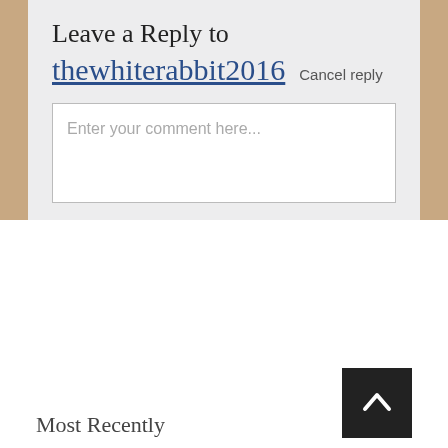Leave a Reply to thewhiterabbit2016 Cancel reply
Enter your comment here...
Comment Count
Total Comments: 88,454
Most Recently